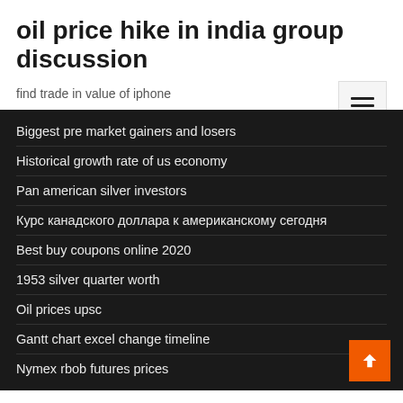oil price hike in india group discussion
find trade in value of iphone
Biggest pre market gainers and losers
Historical growth rate of us economy
Pan american silver investors
Курс канадского доллара к американскому сегодня
Best buy coupons online 2020
1953 silver quarter worth
Oil prices upsc
Gantt chart excel change timeline
Nymex rbob futures prices